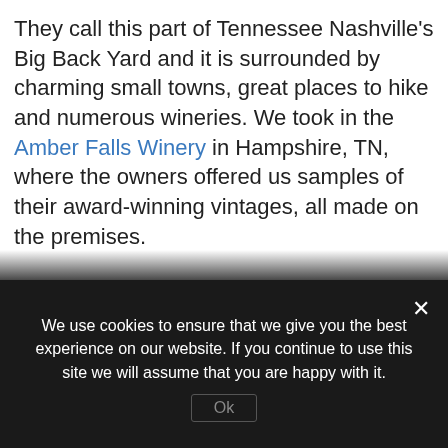They call this part of Tennessee Nashville's Big Back Yard and it is surrounded by charming small towns, great places to hike and numerous wineries. We took in the Amber Falls Winery in Hampshire, TN, where the owners offered us samples of their award-winning vintages, all made on the premises.
The historic Natchez Trace is right nearby, too, offering lots to see and explore.
In the village of Linden, we dined in the Commodore Hotel & Cafe, a beautifully restored old hotel where hosts Mike and
We use cookies to ensure that we give you the best experience on our website. If you continue to use this site we will assume that you are happy with it.